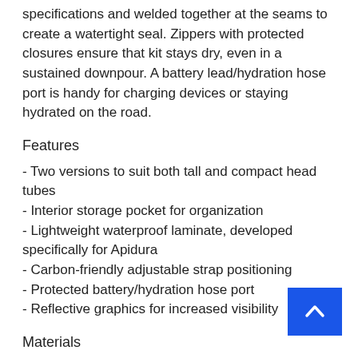specifications and welded together at the seams to create a watertight seal. Zippers with protected closures ensure that kit stays dry, even in a sustained downpour. A battery lead/hydration hose port is handy for charging devices or staying hydrated on the road.
Features
- Two versions to suit both tall and compact head tubes
- Interior storage pocket for organization
- Lightweight waterproof laminate, developed specifically for Apidura
- Carbon-friendly adjustable strap positioning
- Protected battery/hydration hose port
- Reflective graphics for increased visibility
Materials
- The frame bag is cut from a three-layer laminate fabric that was developed specifically for Apidura. The material is